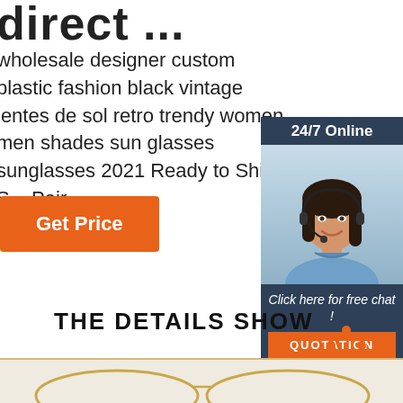direct ...
wholesale designer custom plastic fashion black vintage lentes de sol retro trendy women men shades sun glasses sunglasses 2021 Ready to Ship S... Pair
Get Price
[Figure (photo): Chat widget with woman customer service agent wearing headset, '24/7 Online' header, 'Click here for free chat!' text, and QUOTATION button]
THE DETAILS SHOW
[Figure (logo): TOP icon with orange dots arranged in triangle above the word TOP in orange]
[Figure (photo): Bottom portion of sunglasses product image on cream/beige background]